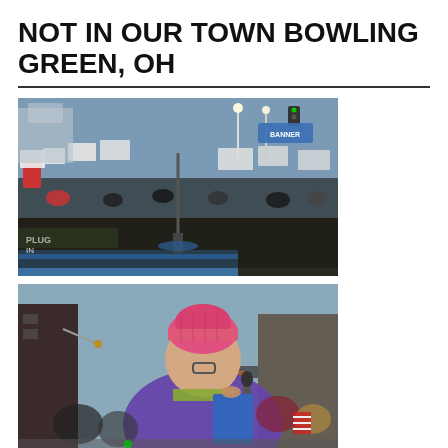NOT IN OUR TOWN BOWLING GREEN, OH
[Figure (photo): Outdoor protest rally at dusk with a large crowd of people holding signs, gathered in an open area with streets and buildings in the background. A speaker podium with a microphone stand is visible in the center.]
[Figure (photo): Close-up of a woman speaking at a microphone, wearing a pink knit hat and purple jacket, holding a blue folder. A crowd is visible behind her with buildings in the background.]